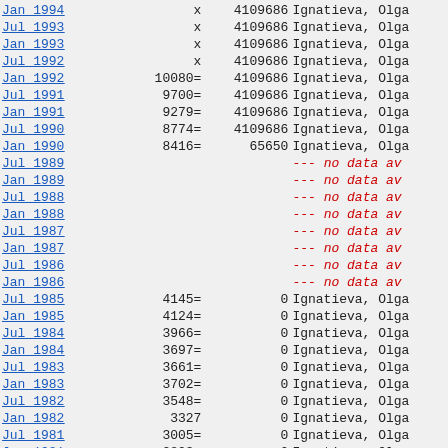| Date | Val1 | Val2 | Name/Status |
| --- | --- | --- | --- |
| Jan 1994 | x | 4109686 | Ignatieva, Olga |
| Jul 1993 | x | 4109686 | Ignatieva, Olga |
| Jan 1993 | x | 4109686 | Ignatieva, Olga |
| Jul 1992 | x | 4109686 | Ignatieva, Olga |
| Jan 1992 | 10080= | 4109686 | Ignatieva, Olga |
| Jul 1991 | 9700= | 4109686 | Ignatieva, Olga |
| Jan 1991 | 9279= | 4109686 | Ignatieva, Olga |
| Jul 1990 | 8774= | 4109686 | Ignatieva, Olga |
| Jan 1990 | 8416= | 65650 | Ignatieva, Olga |
| Jul 1989 |  |  | --- no data av |
| Jan 1989 |  |  | --- no data av |
| Jul 1988 |  |  | --- no data av |
| Jan 1988 |  |  | --- no data av |
| Jul 1987 |  |  | --- no data av |
| Jan 1987 |  |  | --- no data av |
| Jul 1986 |  |  | --- no data av |
| Jan 1986 |  |  | --- no data av |
| Jul 1985 | 4145= | 0 | Ignatieva, Olga |
| Jan 1985 | 4124= | 0 | Ignatieva, Olga |
| Jul 1984 | 3966= | 0 | Ignatieva, Olga |
| Jan 1984 | 3697= | 0 | Ignatieva, Olga |
| Jul 1983 | 3661= | 0 | Ignatieva, Olga |
| Jan 1983 | 3702= | 0 | Ignatieva, Olga |
| Jul 1982 | 3548= | 0 | Ignatieva, Olga |
| Jan 1982 | 3327 | 0 | Ignatieva, Olga |
| Jul 1981 | 3005= | 0 | Ignatieva, Olga |
| Jan 1981 | 2893= | 0 | Ignatieva, Olga |
| Jan 1980 | 2476= | 0 | Ignatieva, Olga |
| Jan 1979 | 2134= | 0 | Ignatieva, Olga |
| Jan 1978 | 1751= | 0 | Ignatieva, Olga |